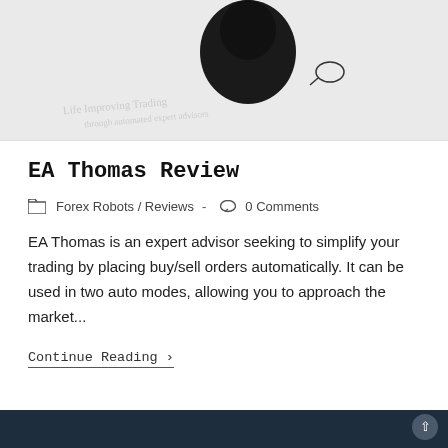[Figure (illustration): Grayscale image of a person (top portion, head area) against a light background, partially visible at top of card]
EA Thomas Review
Forex Robots / Reviews - 0 Comments
EA Thomas is an expert advisor seeking to simplify your trading by placing buy/sell orders automatically. It can be used in two auto modes, allowing you to approach the market...
Continue Reading ›